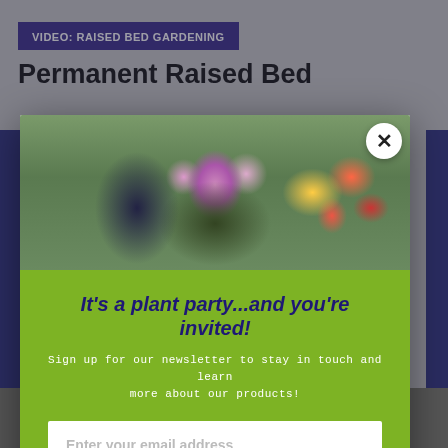VIDEO: RAISED BED GARDENING
Permanent Raised Bed
[Figure (photo): Person holding a pot of pink and purple petunias in front of colorful flower display including yellow and red blooms]
It's a plant party...and you're invited!
Sign up for our newsletter to stay in touch and learn more about our products!
Enter your email address
SUBSCRIBE NOW
No, thanks